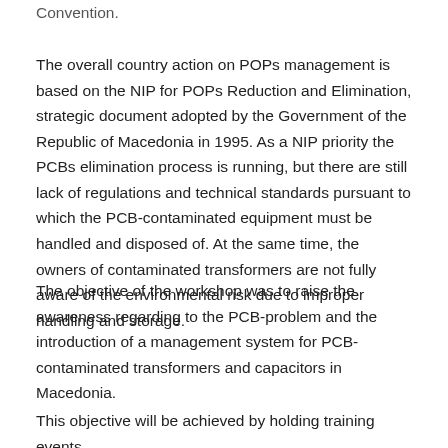Convention.
The overall country action on POPs management is based on the NIP for POPs Reduction and Elimination, strategic document adopted by the Government of the Republic of Macedonia in 1995. As a NIP priority the PCBs elimination process is running, but there are still lack of regulations and technical standards pursuant to which the PCB-contaminated equipment must be handled and disposed of. At the same time, the owners of contaminated transformers are not fully aware of the environmental risk due to improper handling and storage.
The objective of the workshop was to raise the awareness regarding to the PCB-problem and the introduction of a management system for PCB-contaminated transformers and capacitors in Macedonia.
This objective will be achieved by holding training events